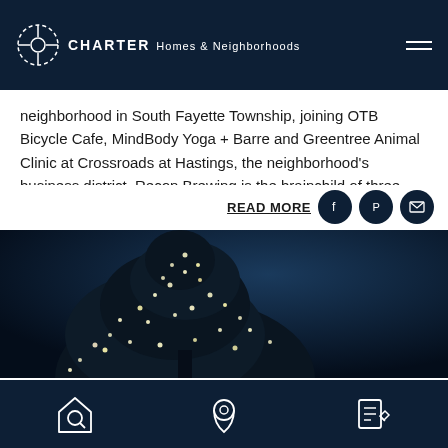CHARTER Homes & Neighborhoods
neighborhood in South Fayette Township, joining OTB Bicycle Cafe, MindBody Yoga + Barre and Greentree Animal Clinic at Crossroads at Hastings, the neighborhood's business district. Recon Brewing is the brainchild of three friends who...
READ MORE
[Figure (photo): Night photo of a tree decorated with white lights against a dark navy blue sky]
Bottom navigation bar with search home icon, location pin icon, and edit/register icon